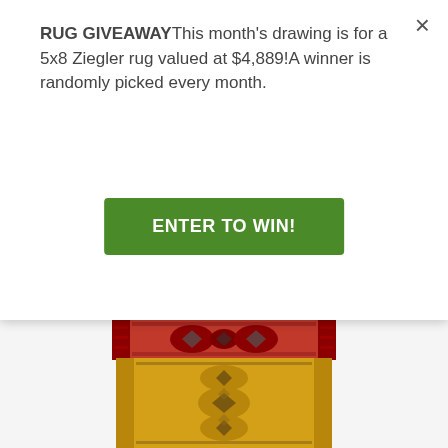RUG GIVEAWAYThis month's drawing is for a 5x8 Ziegler rug valued at $4,889!A winner is randomly picked every month.
ENTER TO WIN!
[Figure (photo): Red Bokhara rug with geometric patterns on red background]
Red Bokhara 2' 7 x 6' 2 - No. 45141
$2,275  $525
[Figure (photo): Yellow/gold Bokhara rug with geometric medallion patterns]